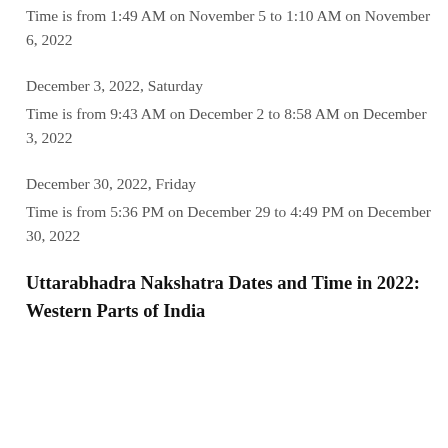Time is from 1:49 AM on November 5 to 1:10 AM on November 6, 2022
December 3, 2022, Saturday
Time is from 9:43 AM on December 2 to 8:58 AM on December 3, 2022
December 30, 2022, Friday
Time is from 5:36 PM on December 29 to 4:49 PM on December 30, 2022
Uttarabhadra Nakshatra Dates and Time in 2022: Western Parts of India